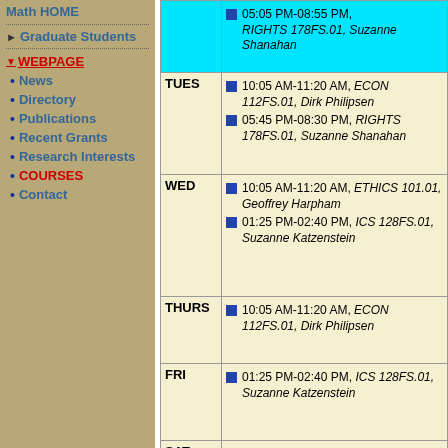Math HOME
Graduate Students
WEBPAGE
News
Directory
Publications
Recent Grants
Research Interests
COURSES
Contact
| Day | Events |
| --- | --- |
| (cyan top) | 05:05 PM-08:55 PM, RIGHTS 178FS.01, Suzanne Shanahan |
| TUES | 10:05 AM-11:20 AM, ECON 112FS.01, Dirk Philipsen | 05:45 PM-08:30 PM, RIGHTS 178FS.01, Suzanne Shanahan |
| WED | 10:05 AM-11:20 AM, ETHICS 101.01, Geoffrey Harpham | 01:25 PM-02:40 PM, ICS 128FS.01, Suzanne Katzenstein |
| THURS | 10:05 AM-11:20 AM, ECON 112FS.01, Dirk Philipsen |
| FRI | 01:25 PM-02:40 PM, ICS 128FS.01, Suzanne Katzenstein |
| SAT |  |